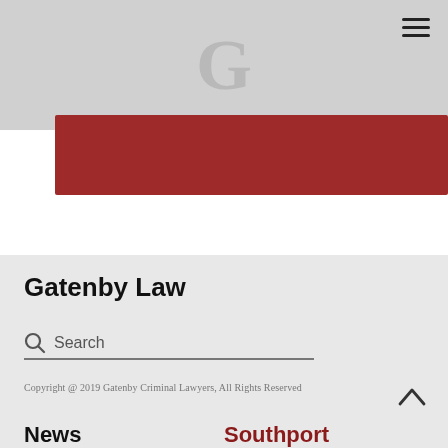[Figure (logo): Gatenby Law logo letter G on grey background with hamburger menu icon in top right]
[Figure (other): Dark red/crimson rectangular banner bar]
Gatenby Law
Search
Copyright @ 2019 Gatenby Criminal Lawyers, All Rights Reserved
News
Southport